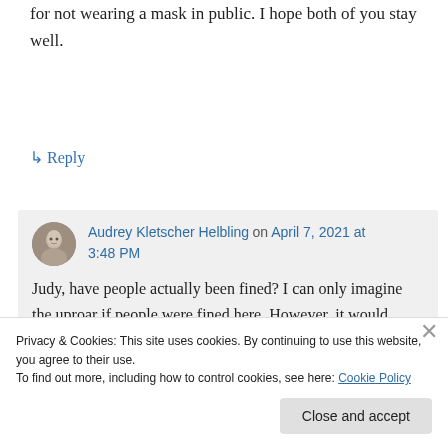for not wearing a mask in public. I hope both of you stay well.
↳ Reply
Audrey Kletscher Helbling on April 7, 2021 at 3:48 PM
Judy, have people actually been fined? I can only imagine the uproar if people were fined here. However, it would prove a good
Privacy & Cookies: This site uses cookies. By continuing to use this website, you agree to their use.
To find out more, including how to control cookies, see here: Cookie Policy
Close and accept